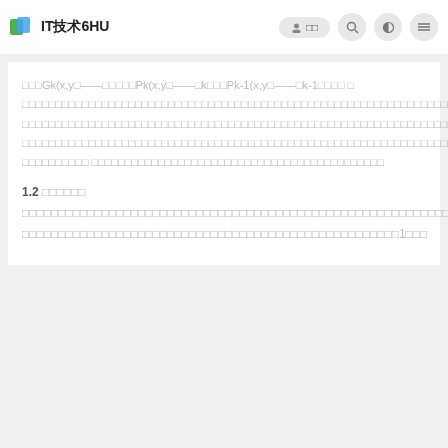IT技术6HU
□□□Gk(x,y□——□□□□□Pk(x,y□——□k□□□Pk-1(x,y□——□k-1□□□□ □□□□□□□□□□□□□□□□□□□□□□□□□□□□□□□□□□□□□□□□□□□□□□□□□□□□□□□□□□□□□□□□□□□□□□□□□□□□□□□□□□□□□□□□□□□□□□□□□□□□□□□□□□□□□□□□□□□□□□□□□□□□□□□□□□□□□□□□□□□□□□□□□□□□□□□□□□□□□□□□□□□□□□□□□□□□□□□□□□□□□□□□□□□□□□□□□□□□□□□□□□□□□□□□□□□□□□□□□□□□□□□□□□□□□□□□□□□□□□□□□□□□□□□□□□□□□ □□□□□□□□□□ □□□□□□□□□□□□□□□□□□□□□□□□□□□□□□□□
1.2 □□□□□□ □□□□□□□□□□□□□□□□□□□□□□□□□□□□□□□□□□□□□□□□□□□□□□□□□□□□□□□□□□□□□□□□□□□□□□□□□□□□□□□□□□□□□□□□□□□□□□□□□□□□□□□□□□□□□□1□□□